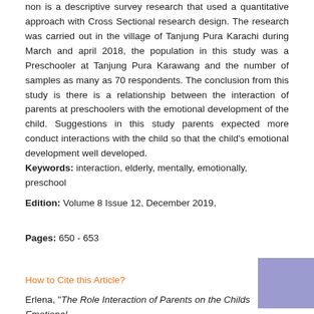non is a descriptive survey research that used a quantitative approach with Cross Sectional research design. The research was carried out in the village of Tanjung Pura Karachi during March and april 2018, the population in this study was a Preschooler at Tanjung Pura Karawang and the number of samples as many as 70 respondents. The conclusion from this study is there is a relationship between the interaction of parents at preschoolers with the emotional development of the child. Suggestions in this study parents expected more conduct interactions with the child so that the child's emotional development well developed.
Keywords: interaction, elderly, mentally, emotionally, preschool
Edition: Volume 8 Issue 12, December 2019,
Pages: 650 - 653
[Figure (other): Purple/lavender colored square decorative element in bottom right corner]
How to Cite this Article?
Erlena, "The Role Interaction of Parents on the Childs Emotional